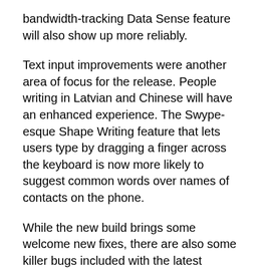bandwidth-tracking Data Sense feature will also show up more reliably.
Text input improvements were another area of focus for the release. People writing in Latvian and Chinese will have an enhanced experience. The Swype-esque Shape Writing feature that lets users type by dragging a finger across the keyboard is now more likely to suggest common words over names of contacts on the phone.
While the new build brings some welcome new fixes, there are also some killer bugs included with the latest release. First and foremost, the Mobile Hotspot functionality that allows users to share their phone's Internet connection with other devices doesn't work in this build. Users who pinned a "large number of tiles" to their phone's Start screen